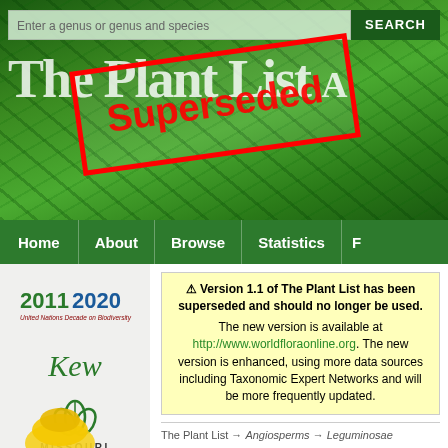[Figure (screenshot): Header banner with green leaf background, search bar, The Plant List site title, and a red 'Superseded' stamp overlaid diagonally]
Home | About | Browse | Statistics | F
[Figure (logo): 2011-2020 United Nations Decade on Biodiversity logo]
[Figure (logo): Kew Gardens logo]
[Figure (logo): Missouri Botanical Garden logo]
⚠ Version 1.1 of The Plant List has been superseded and should no longer be used. The new version is available at http://www.worldfloraonline.org. The new version is enhanced, using more data sources including Taxonomic Expert Networks and will be more frequently updated.
The Plant List → Angiosperms → Leguminosae → Cochleata
Cochleata
The genus Cochleata is in the family...